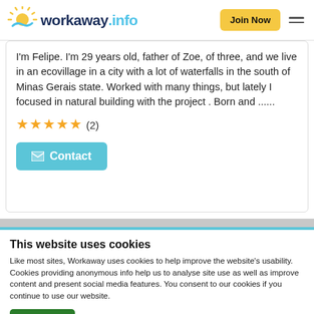workaway.info | Join Now
I'm Felipe. I'm 29 years old, father of Zoe, of three, and we live in an ecovillage in a city with a lot of waterfalls in the south of Minas Gerais state. Worked with many things, but lately I focused in natural building with the project . Born and ......
★★★★★ (2)
✉ Contact
This website uses cookies
Like most sites, Workaway uses cookies to help improve the website's usability. Cookies providing anonymous info help us to analyse site use as well as improve content and present social media features.  You consent to our cookies if you continue to use our website.
OK
Settings